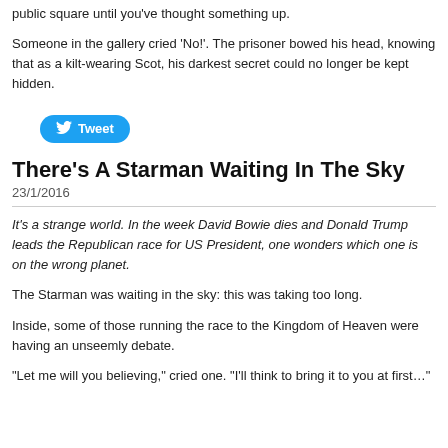public square until you've thought something up.
Someone in the gallery cried ‘No!’. The prisoner bowed his head, knowing that as a kilt-wearing Scot, his darkest secret could no longer be kept hidden.
[Figure (other): Twitter Tweet button]
There’s A Starman Waiting In The Sky
23/1/2016
It’s a strange world. In the week David Bowie dies and Donald Trump leads the Republican race for US President, one wonders which one is on the wrong planet.
The Starman was waiting in the sky: this was taking too long.
Inside, some of those running the race to the Kingdom of Heaven were having an unseemly debate.
“Let me will you believing,” cried one. “I’ll think to bring it to you at first…”